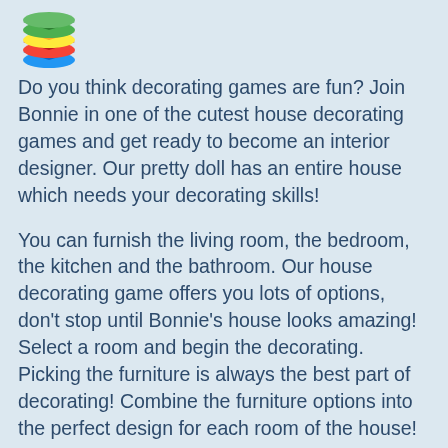[Figure (logo): Colorful layered diamond/stack logo (BlueStacks-style) with green, yellow, red, and blue layers]
Do you think decorating games are fun? Join Bonnie in one of the cutest house decorating games and get ready to become an interior designer. Our pretty doll has an entire house which needs your decorating skills!
You can furnish the living room, the bedroom, the kitchen and the bathroom. Our house decorating game offers you lots of options, don't stop until Bonnie's house looks amazing! Select a room and begin the decorating. Picking the furniture is always the best part of decorating! Combine the furniture options into the perfect design for each room of the house!